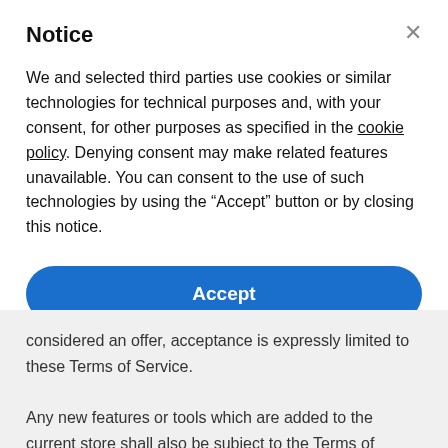Notice
We and selected third parties use cookies or similar technologies for technical purposes and, with your consent, for other purposes as specified in the cookie policy. Denying consent may make related features unavailable. You can consent to the use of such technologies by using the “Accept” button or by closing this notice.
Accept
Learn more and customize
considered an offer, acceptance is expressly limited to these Terms of Service.
Any new features or tools which are added to the current store shall also be subject to the Terms of Service. You can review the most